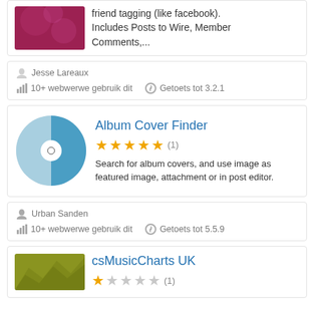friend tagging (like facebook). Includes Posts to Wire, Member Comments,...
Jesse Lareaux — 10+ webwerwe gebruik dit — Getoets tot 3.2.1
Album Cover Finder
★★★★★ (1)
Search for album covers, and use image as featured image, attachment or in post editor.
Urban Sanden — 10+ webwerwe gebruik dit — Getoets tot 5.5.9
csMusicCharts UK
★☆☆☆☆ (1)